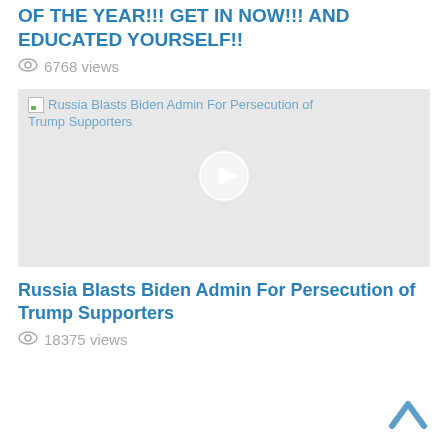OF THE YEAR!!! GET IN NOW!!! AND EDUCATED YOURSELF!!
6768 views
[Figure (screenshot): Video thumbnail placeholder with broken image icon and alt text 'Russia Blasts Biden Admin For Persecution of Trump Supporters', gray background with play button circle in center]
Russia Blasts Biden Admin For Persecution of Trump Supporters
18375 views